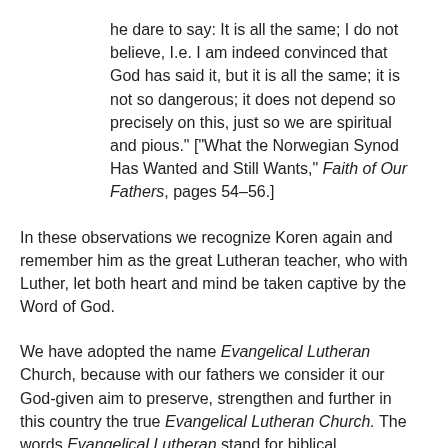he dare to say: It is all the same; I do not believe, I.e. I am indeed convinced that God has said it, but it is all the same; it is not so dangerous; it does not depend so precisely on this, just so we are spiritual and pious." ["What the Norwegian Synod Has Wanted and Still Wants," Faith of Our Fathers, pages 54–56.]
In these observations we recognize Koren again and remember him as the great Lutheran teacher, who with Luther, let both heart and mind be taken captive by the Word of God.
We have adopted the name Evangelical Lutheran Church, because with our fathers we consider it our God-given aim to preserve, strengthen and further in this country the true Evangelical Lutheran Church. The words Evangelical Lutheran stand for biblical Christianity.